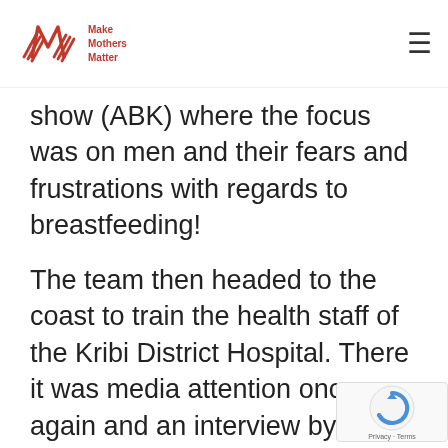Make Mothers Matter
show (ABK) where the focus was on men and their fears and frustrations with regards to breastfeeding!
The team then headed to the coast to train the health staff of the Kribi District Hospital. There it was media attention once again and an interview by Kribi CRTV as part of two recordings for the programme '"SOS Santé"' to be broadcast on the occasion of the World Breastfeeding We